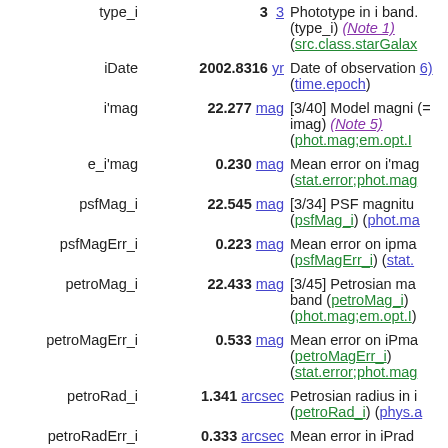| Name | Value | Description |
| --- | --- | --- |
| type_i | 3 | Phototype in i band. (type_i) (Note 1) (src.class.starGalaxy) |
| iDate | 2002.8316 yr | Date of observation 6) (time.epoch) |
| i'mag | 22.277 mag | [3/40] Model magnitude (= imag) (Note 5) (phot.mag;em.opt.I) |
| e_i'mag | 0.230 mag | Mean error on i'mag (stat.error;phot.mag) |
| psfMag_i | 22.545 mag | [3/34] PSF magnitude (psfMag_i) (phot.mag) |
| psfMagErr_i | 0.223 mag | Mean error on ipmag (psfMagErr_i) (stat.) |
| petroMag_i | 22.433 mag | [3/45] Petrosian magnitude band (petroMag_i) (phot.mag;em.opt.I) |
| petroMagErr_i | 0.533 mag | Mean error on iPmag (petroMagErr_i) (stat.error;phot.mag) |
| petroRad_i | 1.341 arcsec | Petrosian radius in i (petroRad_i) (phys.angSize) |
| petroRadErr_i | 0.333 arcsec | Mean error in iPrad (petroRadErr_i) |